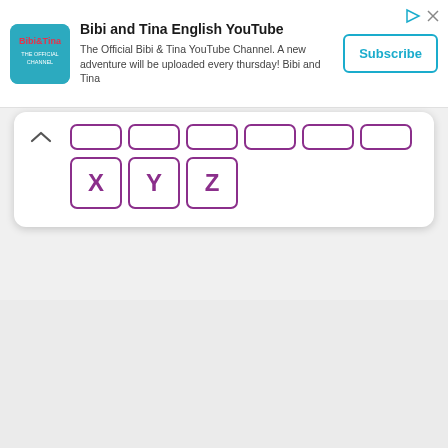[Figure (screenshot): YouTube advertisement banner for 'Bibi and Tina English YouTube' channel with channel logo, description text, and Subscribe button]
Bibi and Tina English YouTube
The Official Bibi & Tina YouTube Channel. A new adventure will be uploaded every thursday! Bibi and Tina
[Figure (screenshot): Keyboard/alphabet tile panel showing rows of letter tiles. Top row has 6 empty/partial tiles (cut off). Bottom row shows tiles with letters X, Y, Z in purple bordered boxes.]